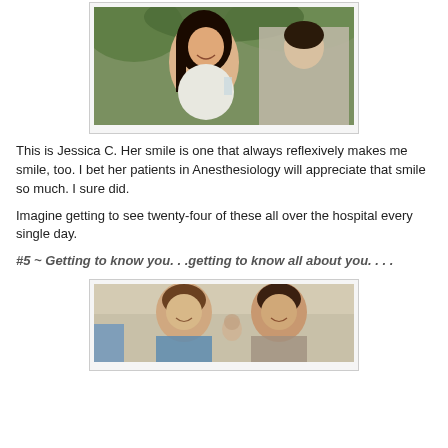[Figure (photo): Photo of a smiling woman with long dark hair at an outdoor event, holding a glass, with another person visible beside her and greenery in the background.]
This is Jessica C. Her smile is one that always reflexively makes me smile, too. I bet her patients in Anesthesiology will appreciate that smile so much. I sure did.
Imagine getting to see twenty-four of these all over the hospital every single day.
#5 ~ Getting to know you. . .getting to know all about you. . . .
[Figure (photo): Photo of two men at an outdoor event, smiling, with a blurred background.]